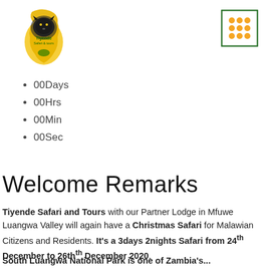[Figure (logo): Tiyende Safari and Tours logo — lion silhouette on African continent map in black and gold/yellow]
[Figure (other): Grid icon — 3x3 grid of orange dots in a green square border]
00Days
00Hrs
00Min
00Sec
Welcome Remarks
Tiyende Safari and Tours with our Partner Lodge in Mfuwe Luangwa Valley will again have a Christmas Safari for Malawian Citizens and Residents. It's a 3days 2nights Safari from 24th December to 26thth December 2020.
South Luangwa National Park is one of Zambia's...